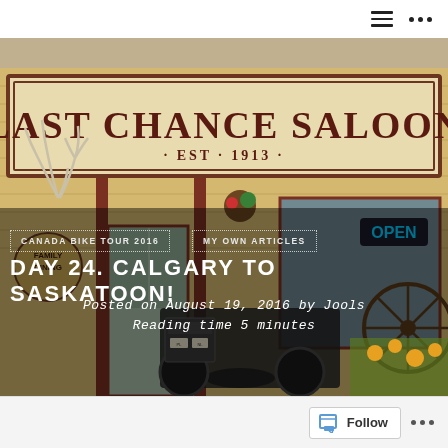[Figure (photo): Exterior of the Last Chance Saloon building, established 1913, with a wooden facade painted yellow/tan, a large sign reading 'LAST CHANCE SALOON · EST · 1913 ·', an OPEN neon sign in the window, antlers on the left side, flower baskets, and a motorcycle with luggage parked in front. A 'FAMILY DINING' sign is visible on the left.]
CANADA BIKE TOUR 2016
MY OWN ARTICLES
DAY 24. CALGARY TO SASKATOON!
Posted on August 19, 2016 by Jools
Reading time 5 minutes
Follow